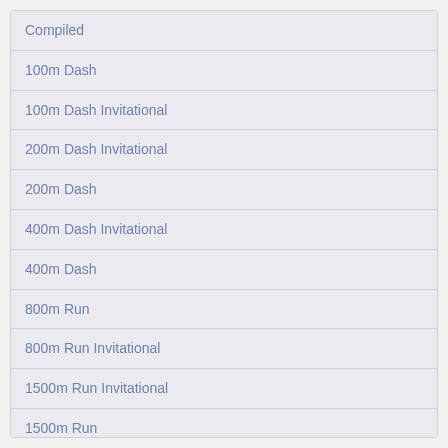Compiled
100m Dash
100m Dash Invitational
200m Dash Invitational
200m Dash
400m Dash Invitational
400m Dash
800m Run
800m Run Invitational
1500m Run Invitational
1500m Run
5000m Run
5000m Run Invitational